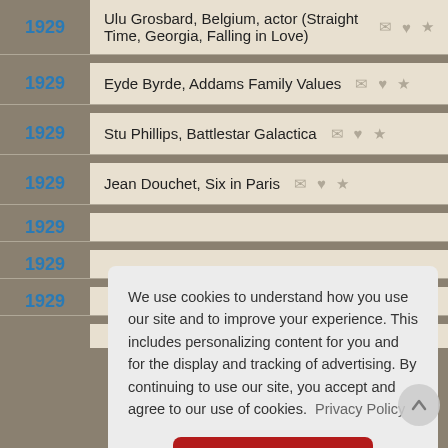1929 – Ulu Grosbard, Belgium, actor (Straight Time, Georgia, Falling in Love)
1929 – Eyde Byrde, Addams Family Values
1929 – Stu Phillips, Battlestar Galactica
1929 – Jean Douchet, Six in Paris
We use cookies to understand how you use our site and to improve your experience. This includes personalizing content for you and for the display and tracking of advertising. By continuing to use our site, you accept and agree to our use of cookies. Privacy Policy
Got it!